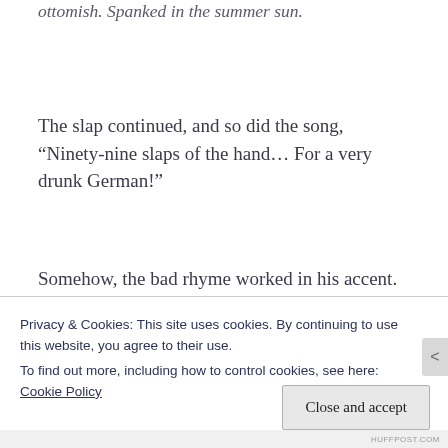ottomish. Spanked in the summer sun.
The slap continued, and so did the song, “Ninety-nine slaps of the hand… For a very drunk German!”
Somehow, the bad rhyme worked in his accent. Slap! Slap! Slap!, he didn’t miss a beat. She bit
Privacy & Cookies: This site uses cookies. By continuing to use this website, you agree to their use.
To find out more, including how to control cookies, see here:
Cookie Policy
Close and accept